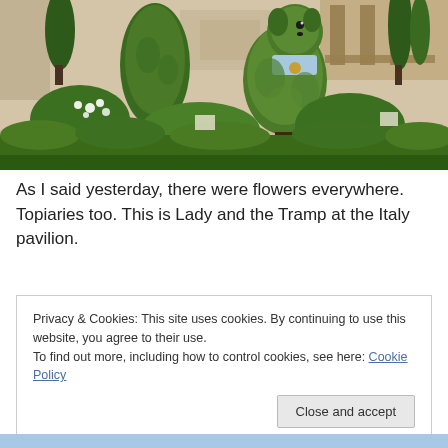[Figure (photo): Topiary sculptures of Lady and the Tramp characters made from green plants/hedges, set in front of a building with a balcony. White flowers and lush greenery surround the topiaries. The Italy pavilion garden setting.]
As I said yesterday, there were flowers everywhere. Topiaries too. This is Lady and the Tramp at the Italy pavilion.
Privacy & Cookies: This site uses cookies. By continuing to use this website, you agree to their use. To find out more, including how to control cookies, see here: Cookie Policy